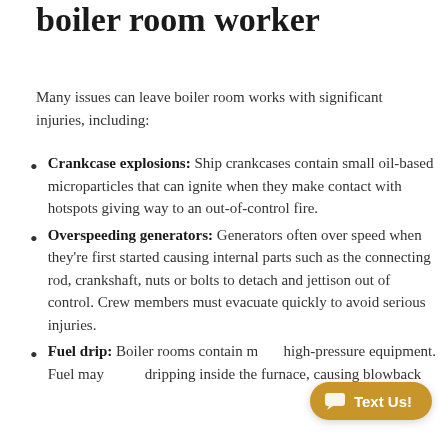boiler room worker
Many issues can leave boiler room works with significant injuries, including:
Crankcase explosions: Ship crankcases contain small oil-based microparticles that can ignite when they make contact with hotspots giving way to an out-of-control fire.
Overspeeding generators: Generators often over speed when they're first started causing internal parts such as the connecting rod, crankshaft, nuts or bolts to detach and jettison out of control. Crew members must evacuate quickly to avoid serious injuries.
Fuel drip: Boiler rooms contain many high-pressure equipment. Fuel may begin dripping inside the furnace, causing blowback